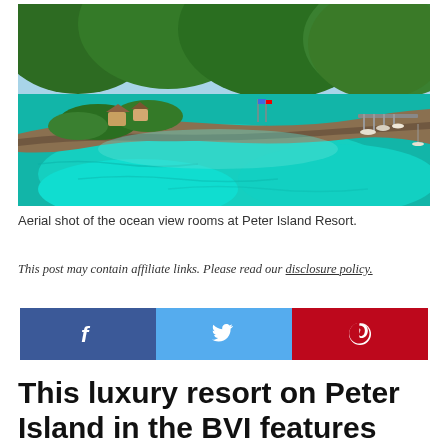[Figure (photo): Aerial shot of tropical island resort showing lush green hills, turquoise ocean water, a rocky seawall, resort buildings with thatched roofs, and a marina with boats. Peter Island Resort aerial view.]
Aerial shot of the ocean view rooms at Peter Island Resort.
This post may contain affiliate links. Please read our disclosure policy.
[Figure (infographic): Social sharing buttons: Facebook (dark blue), Twitter (light blue), Pinterest (red)]
This luxury resort on Peter Island in the BVI features five